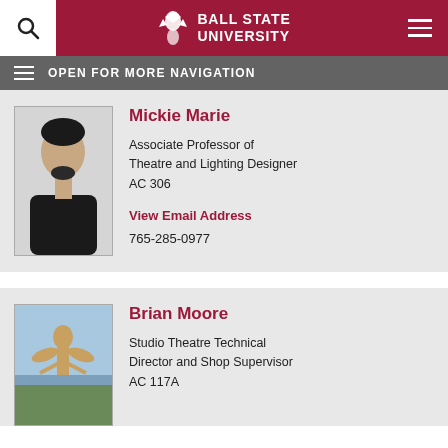Ball State University
OPEN FOR MORE NAVIGATION
Mickie Marie
Associate Professor of Theatre and Lighting Designer
AC 306
View Email Address
765-285-0977
Brian Moore
Studio Theatre Technical Director and Shop Supervisor
AC 117A